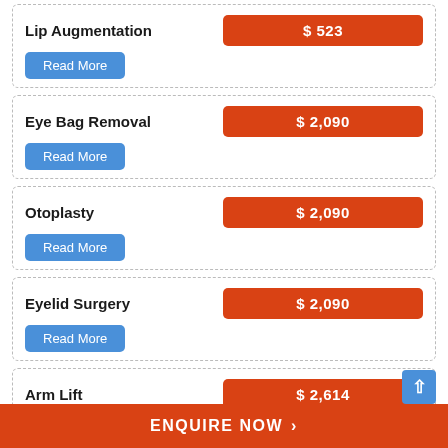Lip Augmentation – $ 523 – Read More
Eye Bag Removal – $ 2,090 – Read More
Otoplasty – $ 2,090 – Read More
Eyelid Surgery – $ 2,090 – Read More
Arm Lift – $ 2,614 – Read More
ENQUIRE NOW >